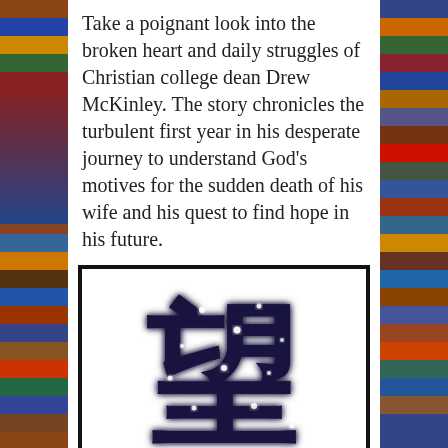Take a poignant look into the broken heart and daily struggles of Christian college dean Drew McKinley. The story chronicles the turbulent first year in his desperate journey to understand God's motives for the sudden death of his wife and his quest to find hope in his future.
[Figure (illustration): Chinese character 望 (hope) rendered with glowing star/light effect in dark blue-black, above bold 3D-style text reading HOPE, with watermark chinesecomments.com]